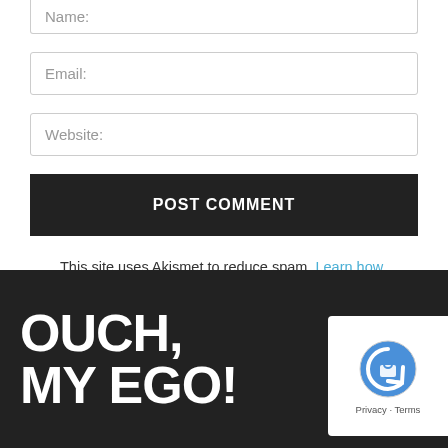Name:
Email:
Website:
POST COMMENT
This site uses Akismet to reduce spam. Learn how your comment data is processed.
[Figure (logo): OUCH, MY EGO! website footer logo in large bold white text on dark background, with a reCAPTCHA badge in the bottom right corner]